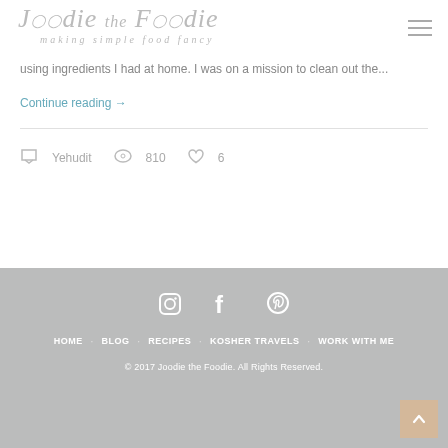Joodie the Foodie — making simple food fancy
using ingredients I had at home. I was on a mission to clean out the...
Continue reading →
Yehudit   810   6
HOME · BLOG · RECIPES · KOSHER TRAVELS · WORK WITH ME
© 2017 Joodie the Foodie. All Rights Reserved.